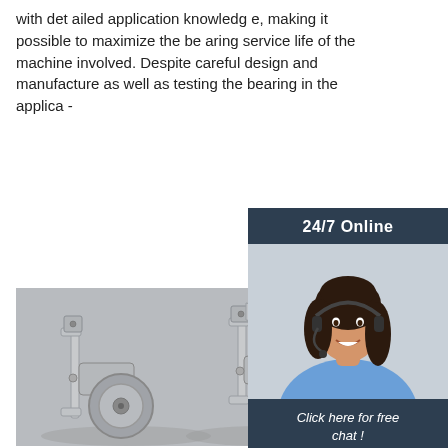with detailed application knowledge, making it possible to maximize the bearing service life of the machine involved. Despite careful design and manufacture as well as testing the bearing in the applica -
[Figure (other): Orange 'Get Price' button]
[Figure (photo): 24/7 Online chat widget with female customer service agent wearing headset, dark blue background, 'Click here for free chat!' text, and orange QUOTATION button]
[Figure (photo): Two metal bearing/roller assemblies with gray wheels on a gray surface]